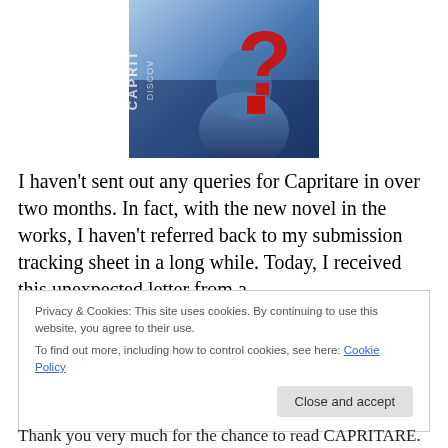[Figure (illustration): Book cover for 'Capritare Discover' showing a blue-toned image of a figure with a large red question mark, text 'CAPRIT' and 'DISCOV' visible on the left side]
I haven't sent out any queries for Capritare in over two months. In fact, with the new novel in the works, I haven't referred back to my submission tracking sheet in a long while. Today, I received this unexpected letter from a
Privacy & Cookies: This site uses cookies. By continuing to use this website, you agree to their use.
To find out more, including how to control cookies, see here: Cookie Policy
Close and accept
Thank you very much for the chance to read CAPRITARE.